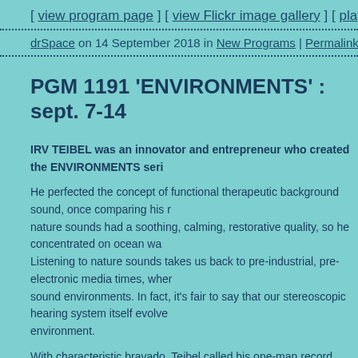[ view program page ] [ view Flickr image gallery ] [ play 30 s
drSpace on 14 September 2018 in New Programs | Permalink | Comments
PGM 1191 'ENVIRONMENTS' : sept. 7-14
IRV TEIBEL was an innovator and entrepreneur who created the ENVIRONMENTS seri He perfected the concept of functional therapeutic background sound, once comparing his r nature sounds had a soothing, calming, restorative quality, so he concentrated on ocean wa Listening to nature sounds takes us back to pre-industrial, pre-electronic media times, wher sound environments. In fact, it's fair to say that our stereoscopic hearing system itself evolve environment.
With characteristic bravado, Teibel called his one-man record label SYNTONIC RESEARCH genius for branding and marketing, and over-the-top, buzzword-filled copywriting led to the f sound recordings. The debut release in 1969 was an ocean recording, which he branded "T